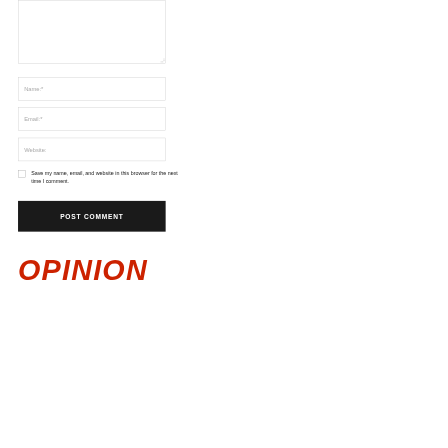[Figure (screenshot): Comment form with textarea (partially visible at top), Name field, Email field, Website field, a checkbox with label 'Save my name, email, and website in this browser for the next time I comment.', a POST COMMENT button, and a red italic OPINION heading at bottom.]
Name:*
Email:*
Website:
Save my name, email, and website in this browser for the next time I comment.
POST COMMENT
OPINION